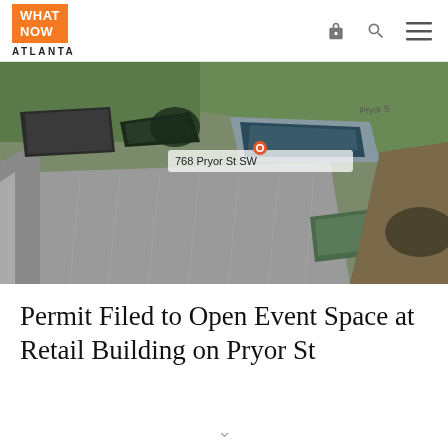What Now Atlanta
[Figure (photo): Aerial Google Maps view of 768 Pryor St SW, Atlanta, showing a retail building with adjacent green space, parking lot, and surrounding neighborhood buildings. A red map pin is visible at the address label.]
Permit Filed to Open Event Space at Retail Building on Pryor St